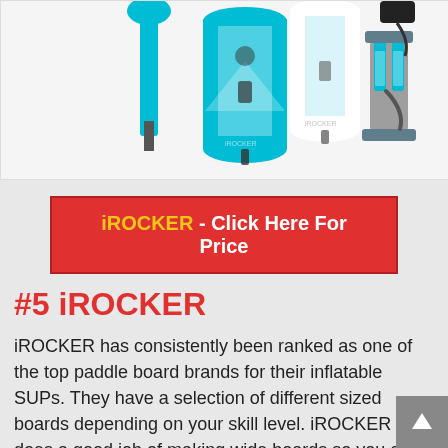[Figure (photo): Product photo of iROCKER inflatable paddle board SUP in cyan/blue color shown with paddle and pump accessories on white background]
iROCKER - Click Here For Price
#5 iROCKER
iROCKER has consistently been ranked as one of the top paddle board brands for their inflatable SUPs. They have a selection of different sized boards depending on your skill level. iROCKER does a good job of making wide boards so you can always find a stable